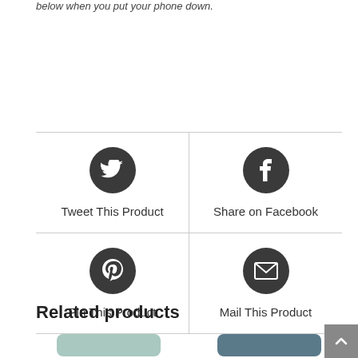below when you put your phone down.
[Figure (infographic): 2x2 grid of social sharing buttons: Tweet This Product (Twitter bird icon), Share on Facebook (Facebook f icon), Pin This Product (Pinterest p icon), Mail This Product (envelope icon). Each icon is white on a dark circle background.]
Related products
[Figure (photo): Partial product thumbnails at bottom of page — a light teal/green product on the left and a dark teal/blue product on the right.]